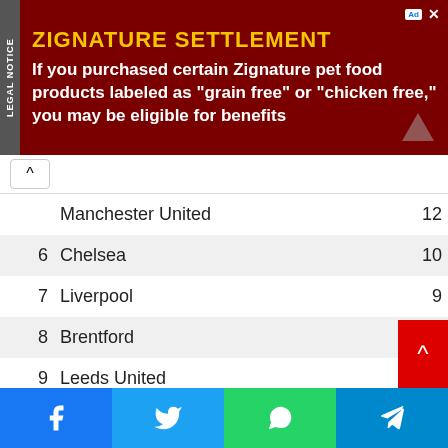[Figure (screenshot): Advertisement banner for Zignature Settlement legal notice with dark red background, yellow title text and white body text]
| # | Team | Pts |
| --- | --- | --- |
|  | Manchester United | 12 |
| 6 | Chelsea | 10 |
| 7 | Liverpool | 9 |
| 8 | Brentford | 9 |
| 9 | Leeds United | 8 |
| 10 | Fulham | 8 |
| 11 | Newcastle United | 7 |
| 12 | Southampton | 7 |
| 13 | AFC Bournemouth | 7 |
| 14 | Wolverhampton Wanderers | 6 |
| 15 | Crystal Palace | 6 |
| 16 | Everton | 4 |
| 17 | Aston Villa |  |
| 18 | West Ham United | 4 |
[Figure (screenshot): Social media share buttons: Facebook, Twitter, WhatsApp, Telegram]